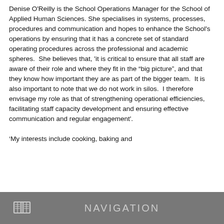Denise O'Reilly is the School Operations Manager for the School of Applied Human Sciences. She specialises in systems, processes, procedures and communication and hopes to enhance the School's operations by ensuring that it has a concrete set of standard operating procedures across the professional and academic spheres.  She believes that, 'it is critical to ensure that all staff are aware of their role and where they fit in the “big picture”, and that they know how important they are as part of the bigger team.  It is also important to note that we do not work in silos.  I therefore envisage my role as that of strengthening operational efficiencies, facilitating staff capacity development and ensuring effective communication and regular engagement'.

‘My interests include cooking, baking and
NAVIGATION